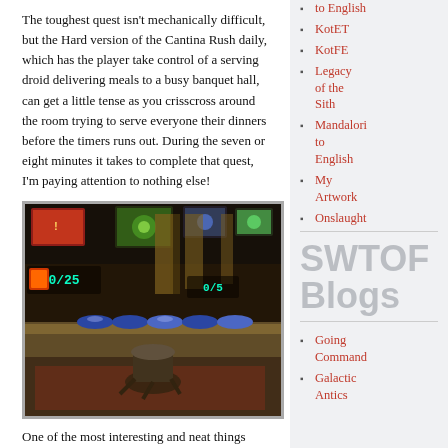The toughest quest isn't mechanically difficult, but the Hard version of the Cantina Rush daily, which has the player take control of a serving droid delivering meals to a busy banquet hall, can get a little tense as you crisscross around the room trying to serve everyone their dinners before the timers runs out. During the seven or eight minutes it takes to complete that quest, I'm paying attention to nothing else!
[Figure (screenshot): Screenshot of the Cantina Rush daily quest in SWTOR, showing a sci-fi banquet hall with screens, counters, and serving droids. HUD elements show 0/25 and 0/5 counters.]
One of the most interesting and neat things
to English
KotET
KotFE
Legacy of the Sith
Mandalori to English
My Artwork
Onslaught
SWTOF Blogs
Going Command
Galactic Antics